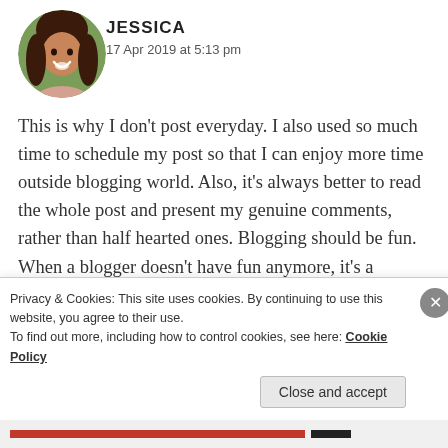[Figure (photo): Circular avatar photo of a young woman with long dark hair, smiling, outdoor background]
JESSICA
17 Apr 2019 at 5:13 pm
This is why I don’t post everyday. I also used so much time to schedule my post so that I can enjoy more time outside blogging world. Also, it’s always better to read the whole post and present my genuine comments, rather than half hearted ones. Blogging should be fun. When a blogger doesn’t have fun anymore, it’s a burden.
Don’t worry, I’m sure your readers will still support
Privacy & Cookies: This site uses cookies. By continuing to use this website, you agree to their use.
To find out more, including how to control cookies, see here: Cookie Policy
Close and accept